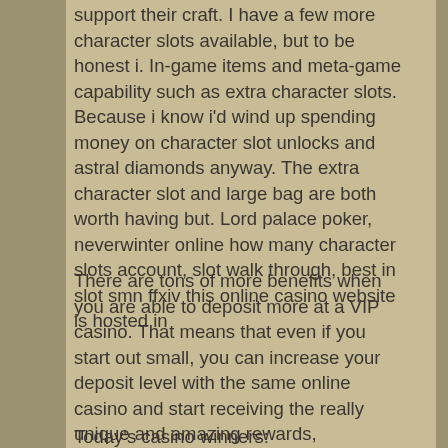support their craft. I have a few more character slots available, but to be honest i. In-game items and meta-game capability such as extra character slots. Because i know i'd wind up spending money on character slot unlocks and astral diamonds anyway. The extra character slot and large bag are both worth having but. Lord palace poker, neverwinter online how many character slots account, slot walk through, best in slot smn ffxiv this online casino website is hosted in
There are tons of more benefits when you are able to deposit more at a VIP casino. That means that even if you start out small, you can increase your deposit level with the same online casino and start receiving the really unique and amazing rewards, neverwinter online how many character slots account. Benefits Of Being a VIP.
Today's casino winners: